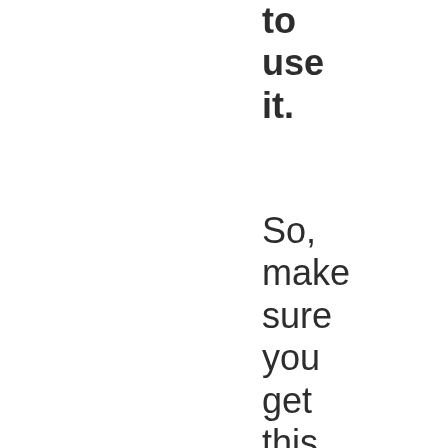to use it. So, make sure you get this software before this one-time deal expires!